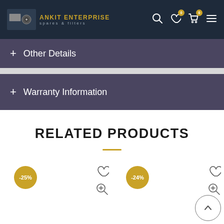ANKIT ENTERPRISE spares & filters
+ Other Details
+ Warranty Information
RELATED PRODUCTS
[Figure (screenshot): Two product cards with -25% and -24% discount badges, wishlist heart icons, and zoom icons]